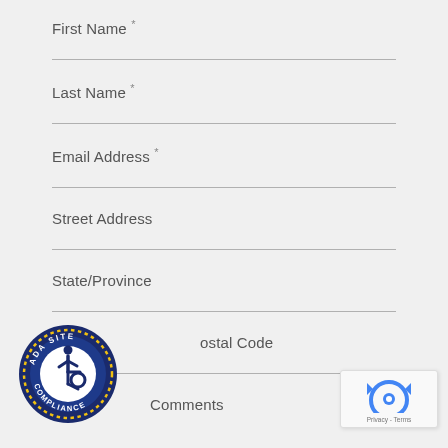First Name *
Last Name *
Email Address *
Street Address
State/Province
Postal Code
Comments
[Figure (logo): ADA Site Compliance circular badge with wheelchair accessibility icon, blue and gold colors]
[Figure (logo): Google reCAPTCHA widget with robot icon and Privacy - Terms text]